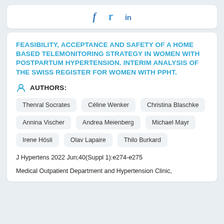[Figure (other): Social media share icons: Facebook (f), Twitter (bird), LinkedIn (in)]
FEASIBILITY, ACCEPTANCE AND SAFETY OF A HOME BASED TELEMONITORING STRATEGY IN WOMEN WITH POSTPARTUM HYPERTENSION. INTERIM ANALYSIS OF THE SWISS REGISTER FOR WOMEN WITH PPHT.
AUTHORS:
Thenral Socrates
Céline Wenker
Christina Blaschke
Annina Vischer
Andrea Meienberg
Michael Mayr
Irene Hösli
Olav Lapaire
Thilo Burkard
J Hypertens 2022 Jun;40(Suppl 1):e274-e275
Medical Outpatient Department and Hypertension Clinic,